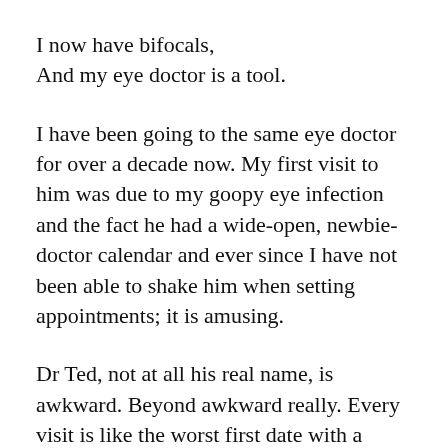I now have bifocals,
And my eye doctor is a tool.
I have been going to the same eye doctor for over a decade now. My first visit to him was due to my goopy eye infection and the fact he had a wide-open, newbie-doctor calendar and ever since I have not been able to shake him when setting appointments; it is amusing.
Dr Ted, not at all his real name, is awkward. Beyond awkward really. Every visit is like the worst first date with a smart, hot guy that you wish had a personality but doesn’t. He accidentally insults me, he talks about himself, he goes on random tangents that make no